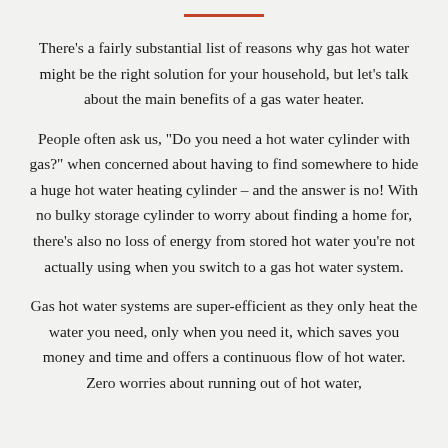There’s a fairly substantial list of reasons why gas hot water might be the right solution for your household, but let’s talk about the main benefits of a gas water heater.
People often ask us, “Do you need a hot water cylinder with gas?” when concerned about having to find somewhere to hide a huge hot water heating cylinder – and the answer is no! With no bulky storage cylinder to worry about finding a home for, there’s also no loss of energy from stored hot water you’re not actually using when you switch to a gas hot water system.
Gas hot water systems are super-efficient as they only heat the water you need, only when you need it, which saves you money and time and offers a continuous flow of hot water. Zero worries about running out of hot water,